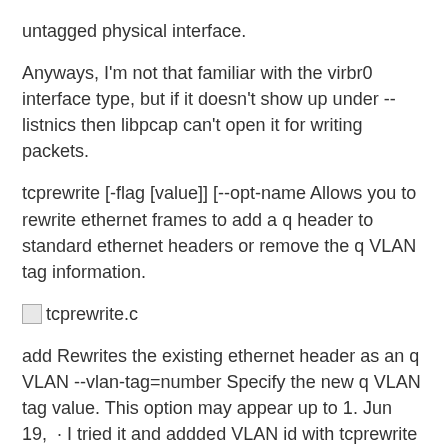untagged physical interface.
Anyways, I'm not that familiar with the virbr0 interface type, but if it doesn't show up under --listnics then libpcap can't open it for writing packets.
tcprewrite [-flag [value]] [--opt-name Allows you to rewrite ethernet frames to add a q header to standard ethernet headers or remove the q VLAN tag information.
[Figure (other): Small broken image icon placeholder with label 'tcprewrite.c']
add Rewrites the existing ethernet header as an q VLAN --vlan-tag=number Specify the new q VLAN tag value. This option may appear up to 1. Jun 19,  · I tried it and addded VLAN id with tcprewrite (ok), set up a vlan-tagged interface virbr tagged with VLAN id (also ok), then tried tcpreplay to virbr - but no luck.